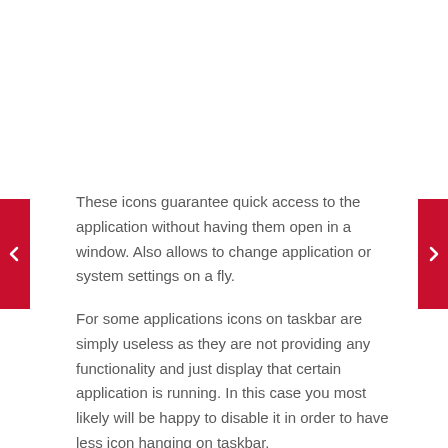These icons guarantee quick access to the application without having them open in a window. Also allows to change application or system settings on a fly.
For some applications icons on taskbar are simply useless as they are not providing any functionality and just display that certain application is running. In this case you most likely will be happy to disable it in order to have less icon hanging on taskbar.